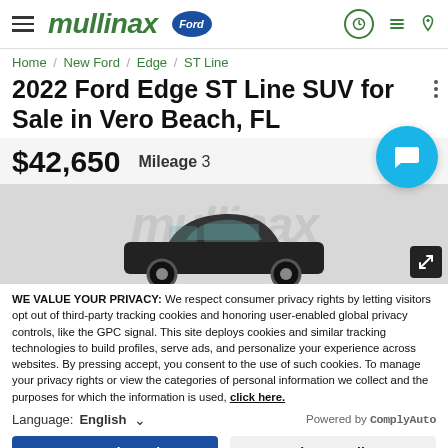mullinax Ford
Home / New Ford / Edge / ST Line
2022 Ford Edge ST Line SUV for Sale in Vero Beach, FL
$42,650   Mileage 3
[Figure (photo): Photo of a 2022 Ford Edge ST Line SUV with Mullinax watermark]
WE VALUE YOUR PRIVACY: We respect consumer privacy rights by letting visitors opt out of third-party tracking cookies and honoring user-enabled global privacy controls, like the GPC signal. This site deploys cookies and similar tracking technologies to build profiles, serve ads, and personalize your experience across websites. By pressing accept, you consent to the use of such cookies. To manage your privacy rights or view the categories of personal information we collect and the purposes for which the information is used, click here.
Language: English   Powered by ComplyAuto
Accept and Continue   Privacy Policy